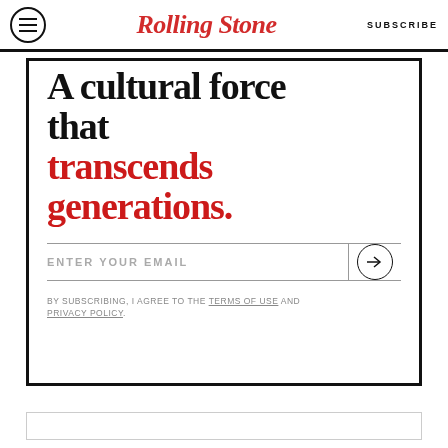Rolling Stone | SUBSCRIBE
A cultural force that transcends generations.
ENTER YOUR EMAIL
BY SUBSCRIBING, I AGREE TO THE TERMS OF USE AND PRIVACY POLICY.
[Figure (other): Empty box at bottom of page]